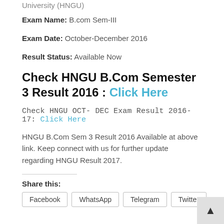University (HNGU)
Exam Name: B.com Sem-III
Exam Date: October-December 2016
Result Status: Available Now
Check HNGU B.Com Semester 3 Result 2016 : Click Here
Check HNGU OCT- DEC Exam Result 2016-17: Click Here
HNGU B.Com Sem 3 Result 2016 Available at above link. Keep connect with us for further update regarding HNGU Result 2017.
Share this:
Facebook | WhatsApp | Telegram | Twitter